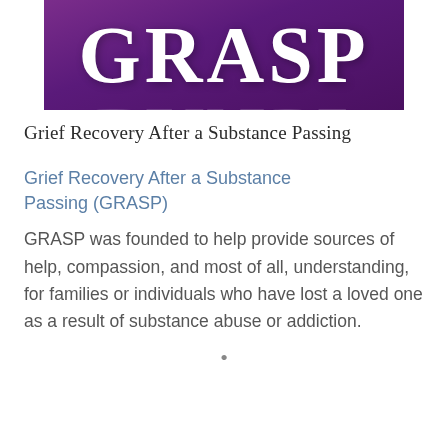[Figure (logo): GRASP logo — white bold serif text 'GRASP' on a deep purple gradient banner background with a faint reflection below]
Grief Recovery After a Substance Passing
Grief Recovery After a Substance Passing (GRASP)
GRASP was founded to help provide sources of help, compassion, and most of all, understanding, for families or individuals who have lost a loved one as a result of substance abuse or addiction.